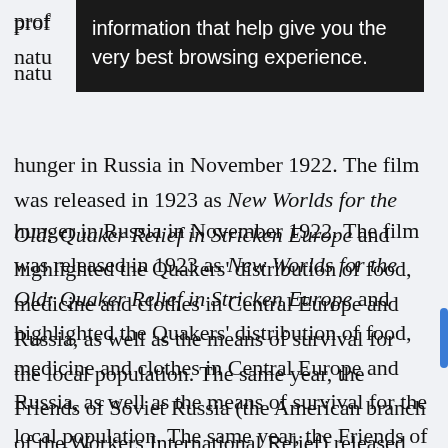[Figure (screenshot): Black tooltip/popup overlay showing text: 'information that help give you the very best browsing experience.']
prof[iling...] natu[ral...] hunger in Russia in November 1922. The film was released in 1923 as New Worlds for the Old: Quaker Relief in Stricken Europe and highlighted the Quakers' distribution of food, medicine and clothes in Central Europe and Russia, as well as the means of survival for the local population. The same year, the Friends of Soviet Russia (the American branch of the Workers International Relief) released Russia through the Shadows. The High Commissioner for Refugees, Fridtjof Nansen, appointed by the [League of Nations, appointed 1920...]